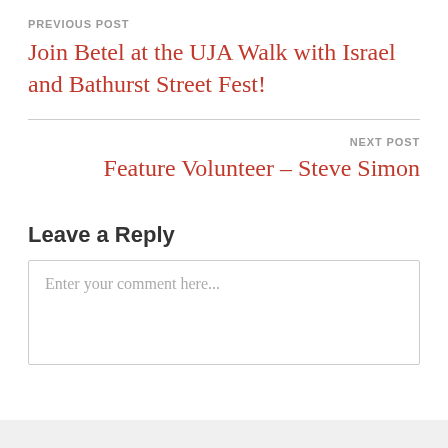PREVIOUS POST
Join Betel at the UJA Walk with Israel and Bathurst Street Fest!
NEXT POST
Feature Volunteer – Steve Simon
Leave a Reply
Enter your comment here...